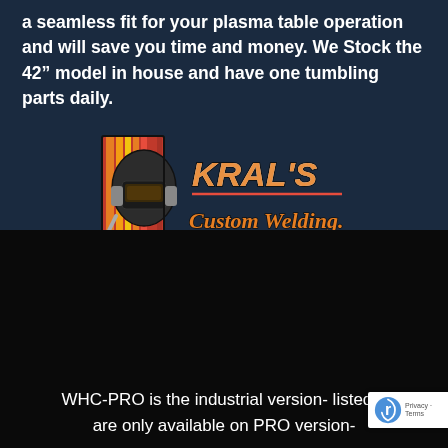a seamless fit for your plasma table operation and will save you time and money. We Stock the 42" model in house and have one tumbling parts daily.
[Figure (logo): Kral's Custom Welding logo featuring a welding helmet mascot with orange/red striped background panel and stylized text]
WHC-PRO is the industrial version- listed b... are only available on PRO version-